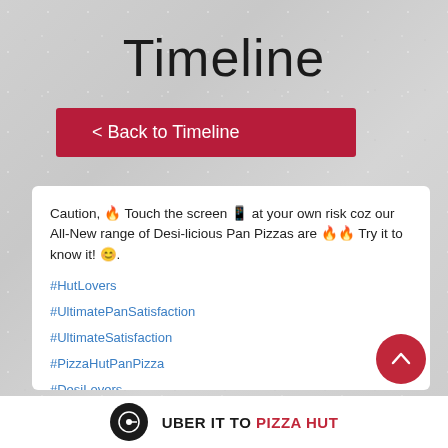Timeline
< Back to Timeline
Caution, 🔥 Touch the screen 📱 at your own risk coz our All-New range of Desi-licious Pan Pizzas are 🔥🔥 Try it to know it! 😊.
#HutLovers
#UltimatePanSatisfaction
#UltimateSatisfaction
#PizzaHutPanPizza
#DesiLovers
#DesiRange
UBER IT TO PIZZA HUT